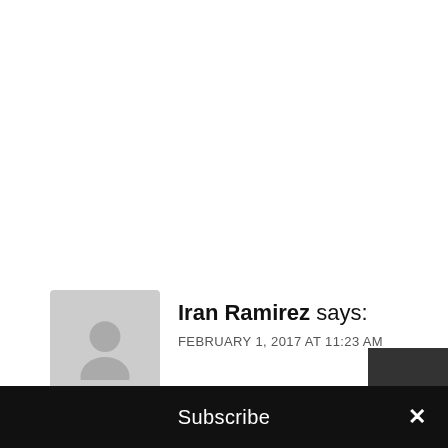Iran Ramirez says:
FEBRUARY 1, 2017 AT 11:23 AM
Hey Steve, the photos... wow!, Strong, they almost make you feel like you were there. The Inica ild...
Subscribe ×